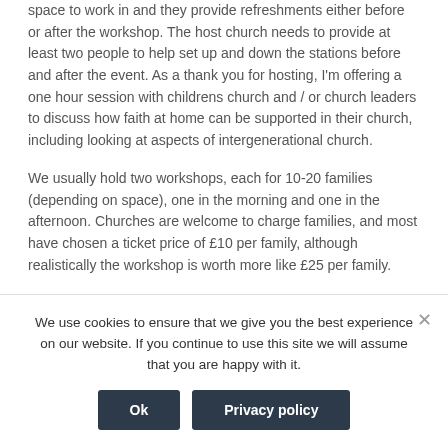space to work in and they provide refreshments either before or after the workshop. The host church needs to provide at least two people to help set up and down the stations before and after the event. As a thank you for hosting, I'm offering a one hour session with childrens church and / or church leaders to discuss how faith at home can be supported in their church, including looking at aspects of intergenerational church.
We usually hold two workshops, each for 10-20 families (depending on space), one in the morning and one in the afternoon. Churches are welcome to charge families, and most have chosen a ticket price of £10 per family, although realistically the workshop is worth more like £25 per family.
We use cookies to ensure that we give you the best experience on our website. If you continue to use this site we will assume that you are happy with it.